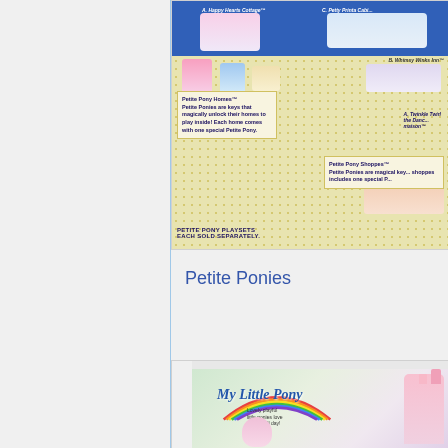[Figure (photo): Petite Pony Homes toy catalog image showing various miniature pony playsets including Happy Hearts Cottage, Whimsy Winks Inn, Petite Pony Cabins, and Petite Pony Shoppes with text descriptions and labels on a yellow dotted background with blue header.]
Petite Ponies
[Figure (photo): My Little Pony product image showing rainbow logo on packaging with text 'Lovely playful little ponies love to frolic all day!' and a pink castle visible on the right side.]